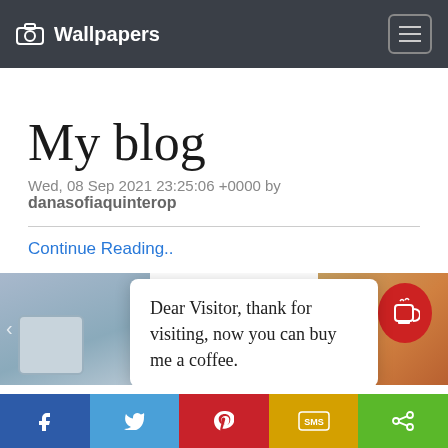Wallpapers
My blog
Wed, 08 Sep 2021 23:25:06 +0000 by
danasofiaquinterop
Continue Reading..
[Figure (screenshot): Image strip showing photos on left and right sides with a popup dialog card in the center reading 'Dear Visitor, thank for visiting, now you can buy me a coffee.']
f  (twitter)  (pinterest)  SMS  (share)